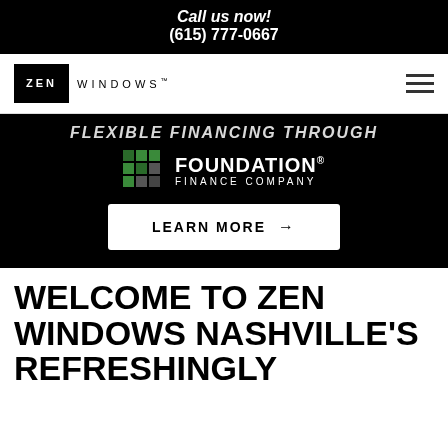Call us now!
(615) 777-0667
[Figure (logo): Zen Windows logo with black box containing 'ZEN' and 'WINDOWS' text beside it, plus hamburger menu icon on the right]
[Figure (infographic): Black banner with text 'FLEXIBLE FINANCING THROUGH', Foundation Finance Company logo with green grid squares, and a 'LEARN MORE →' button]
WELCOME TO ZEN WINDOWS NASHVILLE'S REFRESHINGLY